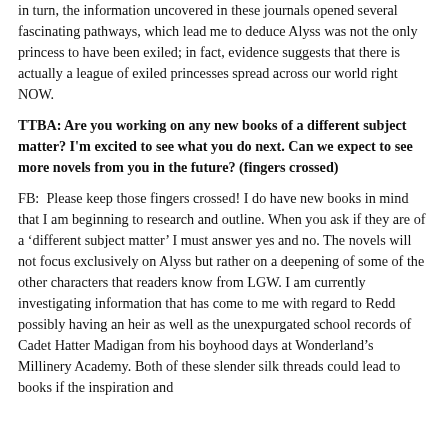in turn, the information uncovered in these journals opened several fascinating pathways, which lead me to deduce Alyss was not the only princess to have been exiled; in fact, evidence suggests that there is actually a league of exiled princesses spread across our world right NOW.
TTBA: Are you working on any new books of a different subject matter? I'm excited to see what you do next. Can we expect to see more novels from you in the future? (fingers crossed)
FB:  Please keep those fingers crossed! I do have new books in mind that I am beginning to research and outline. When you ask if they are of a 'different subject matter' I must answer yes and no. The novels will not focus exclusively on Alyss but rather on a deepening of some of the other characters that readers know from LGW. I am currently investigating information that has come to me with regard to Redd possibly having an heir as well as the unexpurgated school records of Cadet Hatter Madigan from his boyhood days at Wonderland's Millinery Academy. Both of these slender silk threads could lead to books if the inspiration and